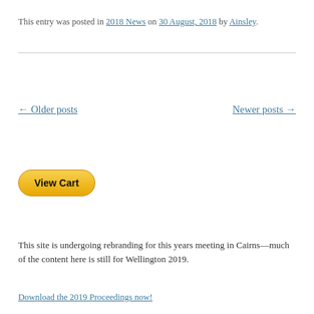This entry was posted in 2018 News on 30 August, 2018 by Ainsley.
← Older posts    Newer posts →
[Figure (other): View Cart button — yellow rounded rectangle button with bold text]
This site is undergoing rebranding for this years meeting in Cairns—much of the content here is still for Wellington 2019.
Download the 2019 Proceedings now!